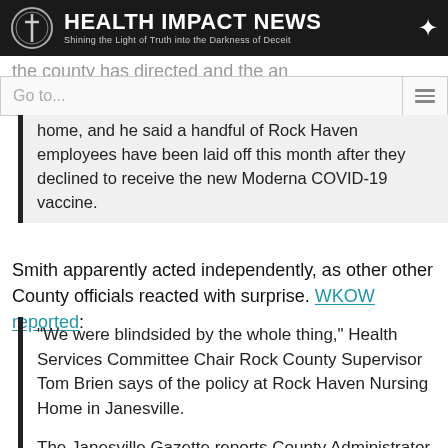HEALTH IMPACT NEWS — Shining the Light of Truth into the Darkness of Deceit
the county has directed and the an
Go to...
home, and he said a handful of Rock Haven employees have been laid off this month after they declined to receive the new Moderna COVID-19 vaccine.
Smith apparently acted independently, as other other County officials reacted with surprise. WKOW reported:
“We were blindsided by the whole thing,” Health Services Committee Chair Rock County Supervisor Tom Brien says of the policy at Rock Haven Nursing Home in Janesville.
The Janesville Gazette reports County Administrator Josh Smith was involved in